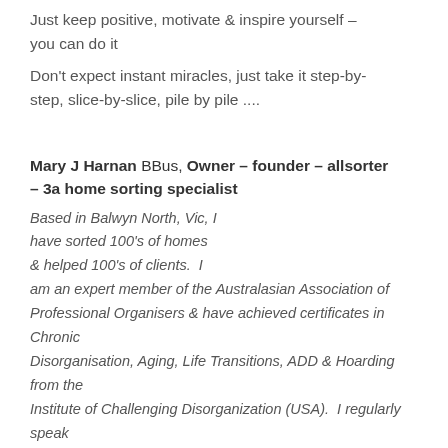Just keep positive, motivate & inspire yourself – you can do it
Don't expect instant miracles, just take it step-by-step, slice-by-slice, pile by pile ....
Mary J Harnan BBus, Owner – founder – allsorter – 3a home sorting specialist
Based in Balwyn North, Vic, I have sorted 100's of homes & helped 100's of clients.  I am an expert member of the Australasian Association of Professional Organisers & have achieved certificates in Chronic Disorganisation, Aging, Life Transitions, ADD & Hoarding from the Institute of Challenging Disorganization (USA).  I regularly speak about the 3cd's – decluttering, downsizing, de-owning